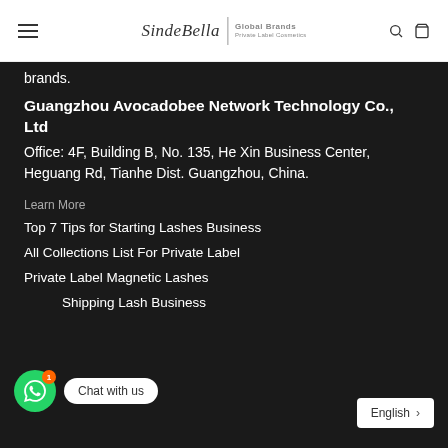SindeBella Global Brands Private Label Cosmetics
brands.
Guangzhou Avocadobee Network Technology Co., Ltd
Office: 4F, Building B, No. 135, He Xin Business Center, Heguang Rd, Tianhe Dist. Guangzhou, China.
Learn More
Top 7 Tips for Starting Lashes Business
All Collections List For Private Label
Private Label Magnetic Lashes
Drop Shipping Lash Business